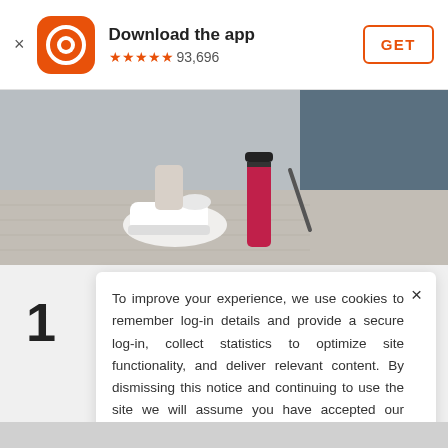Download the app ★★★★★ 93,696 GET
[Figure (photo): Gym floor scene with white sneaker and pink/red water bottle on grey hardwood floor]
1
To improve your experience, we use cookies to remember log-in details and provide a secure log-in, collect statistics to optimize site functionality, and deliver relevant content. By dismissing this notice and continuing to use the site we will assume you have accepted our Cookie Policy